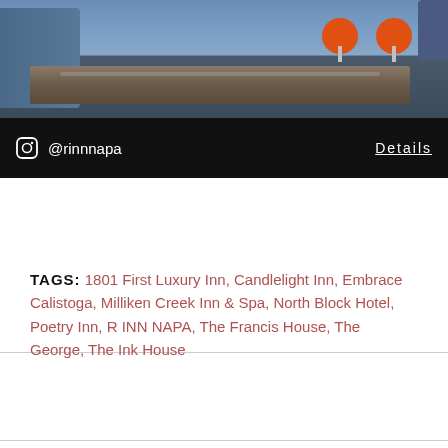[Figure (photo): Indoor hotel lounge photo showing a wooden coffee table, blue/grey sofa, and two orange tulip stools on a light floor]
@rinnnapa  Details
TAGS: 1801 First Luxury Inn, Candlelight Inn, Embrace Calistoga, Milliken Creek Inn & Spa, North Block Hotel, Poetry Inn, R INN NAPA, The Francis House, The George, The Ink House